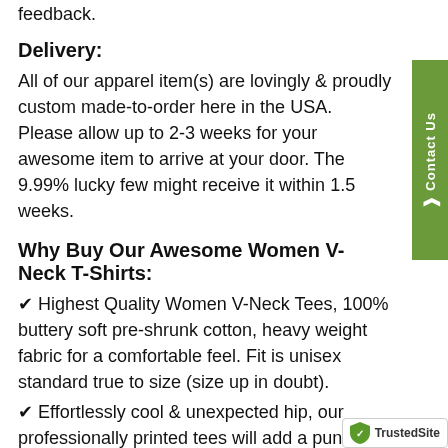feedback.
Delivery:
All of our apparel item(s) are lovingly & proudly custom made-to-order here in the USA. Please allow up to 2-3 weeks for your awesome item to arrive at your door. The 9.99% lucky few might receive it within 1.5 weeks.
Why Buy Our Awesome Women V-Neck T-Shirts:
✔ Highest Quality Women V-Neck Tees, 100% buttery soft pre-shrunk cotton, heavy weight fabric for a comfortable feel. Fit is unisex standard true to size (size up in doubt).
✔ Effortlessly cool & unexpected hip, our professionally printed tees will add a punch to your everyday wardrobe. All made to feel like you've worn & loved them for years, season after season.
✔ Put a big smile on someone's face with this fu